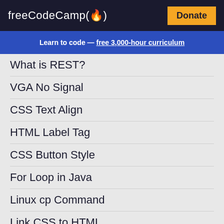freeCodeCamp(🔥) Donate
Learn to code — free 3,000-hour curriculum
What is REST?
VGA No Signal
CSS Text Align
HTML Label Tag
CSS Button Style
For Loop in Java
Linux cp Command
Link CSS to HTML
Cast a Function in SQL
Java Logical Operators
Chmod Command in Linux